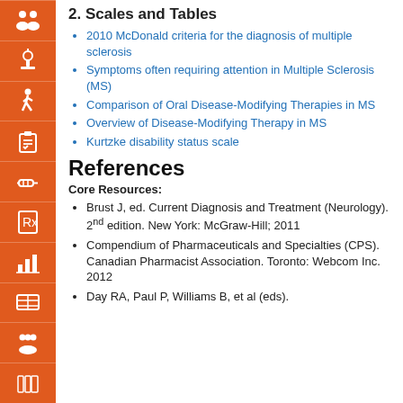2. Scales and Tables
2010 McDonald criteria for the diagnosis of multiple sclerosis
Symptoms often requiring attention in Multiple Sclerosis (MS)
Comparison of Oral Disease-Modifying Therapies in MS
Overview of Disease-Modifying Therapy in MS
Kurtzke disability status scale
References
Core Resources:
Brust J, ed. Current Diagnosis and Treatment (Neurology). 2nd edition. New York: McGraw-Hill; 2011
Compendium of Pharmaceuticals and Specialties (CPS). Canadian Pharmacist Association. Toronto: Webcom Inc. 2012
Day RA, Paul P, Williams B, et al (eds).